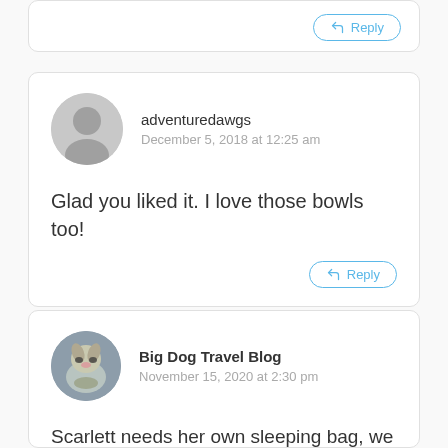[Reply button - partially visible top card]
adventuredawgs
December 5, 2018 at 12:25 am
Glad you liked it. I love those bowls too!
[Reply button]
Big Dog Travel Blog
November 15, 2020 at 2:30 pm
Scarlett needs her own sleeping bag, we all argue over the square all night when we